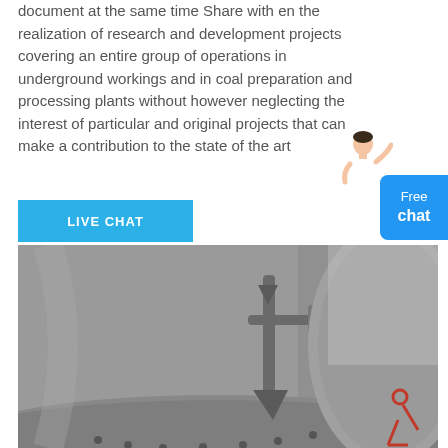document at the same time Share with en the realization of research and development projects covering an entire group of operations in underground workings and in coal preparation and processing plants without however neglecting the interest of particular and original projects that can make a contribution to the state of the art
[Figure (other): An avatar/illustration of a person (customer service representative) in a white outfit with one hand raised, placed near the top-right of the page.]
LIVE CHAT
Free chat
[Figure (photo): Close-up photograph of heavy industrial machinery — a grey metallic cone crusher or similar mining/engineering equipment showing mechanical linkages, bolts, and curved metal surfaces.]